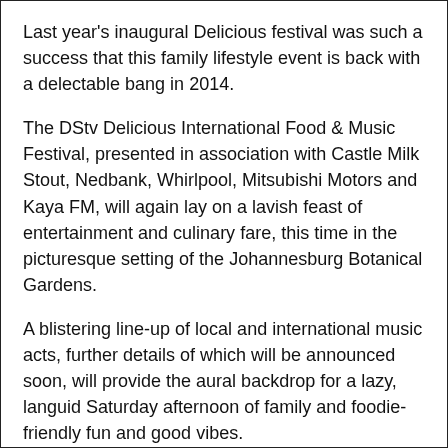Last year's inaugural Delicious festival was such a success that this family lifestyle event is back with a delectable bang in 2014.
The DStv Delicious International Food & Music Festival, presented in association with Castle Milk Stout, Nedbank, Whirlpool, Mitsubishi Motors and Kaya FM, will again lay on a lavish feast of entertainment and culinary fare, this time in the picturesque setting of the Johannesburg Botanical Gardens.
A blistering line-up of local and international music acts, further details of which will be announced soon, will provide the aural backdrop for a lazy, languid Saturday afternoon of family and foodie-friendly fun and good vibes.
In addition to shopping for gourmet goodies at the artisan food market, visitors can dine in style at one of the pop-up restaurants manned by South African and overseas celebrity chefs, who will be